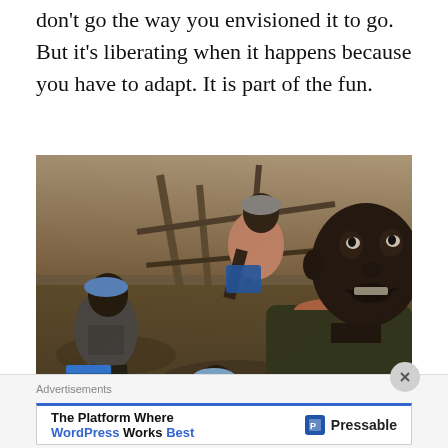don't go the way you envisioned it to go. But it's liberating when it happens because you have to adapt. It is part of the fun.
[Figure (photo): Several workers in a muddy mining excavation site. A man in a dark shirt with an orange collar stands prominently in the foreground on the right, looking up. Other workers in the background are carrying containers and working in a trench with wooden supports.]
Advertisements
The Platform Where WordPress Works Best | Pressable